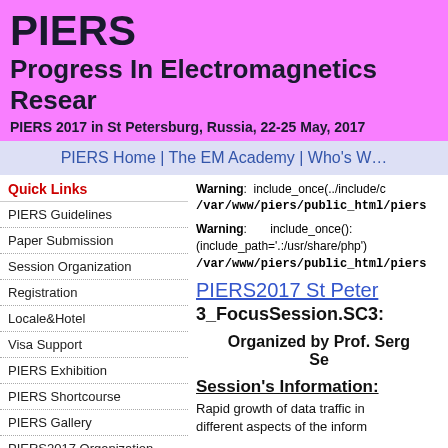PIERS
Progress In Electromagnetics Research
PIERS 2017 in St Petersburg, Russia, 22-25 May, 2017
PIERS Home | The EM Academy | Who's W...
Quick Links
PIERS Guidelines
Paper Submission
Session Organization
Registration
Locale&Hotel
Visa Support
PIERS Exhibition
PIERS Shortcourse
PIERS Gallery
PIERS2017 Organization
PIERS2017 Sponsors
Warning: include_once(../include/c... /var/www/piers/public_html/piers...
Warning: include_once(): (include_path='.:/usr/share/php') /var/www/piers/public_html/piers...
PIERS2017 St Peter...
3_FocusSession.SC3:
Organized by Prof. Serg... Se...
Session's Information:
Rapid growth of data traffic in... different aspects of the inform...